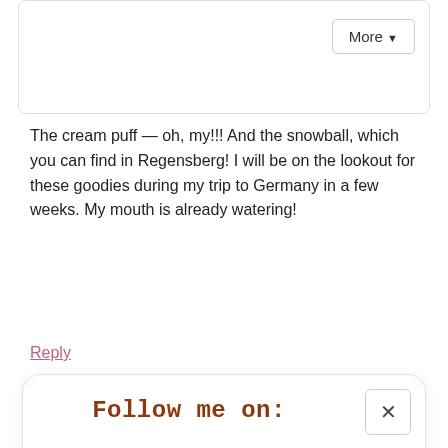[Figure (screenshot): Top card with 'More' dropdown button]
The cream puff — oh, my!!! And the snowball, which you can find in Regensberg! I will be on the lookout for these goodies during my trip to Germany in a few weeks. My mouth is already watering!
Reply
[Figure (screenshot): Follow me on: social media icons (Facebook, Instagram, Pinterest, Twitter, Bloglovin, RSS) and newsletter sign-up with Subscribe input and Sign Up! button]
July 18, 2016 at 6:26 pm
I'm veggie so I can't appreciate all the meaty entries